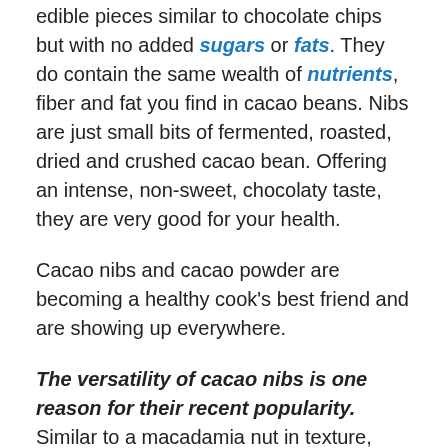edible pieces similar to chocolate chips but with no added sugars or fats. They do contain the same wealth of nutrients, fiber and fat you find in cacao beans. Nibs are just small bits of fermented, roasted, dried and crushed cacao bean. Offering an intense, non-sweet, chocolaty taste, they are very good for your health.
Cacao nibs and cacao powder are becoming a healthy cook’s best friend and are showing up everywhere.
The versatility of cacao nibs is one reason for their recent popularity. Similar to a macadamia nut in texture, cacao nibs are crunchy yet tender. If chocolate is already a favorite treat of yours, then you’ll likely fall in love with cacao nibs – even if their somewhat “bitter” taste takes a bit of getting used to.
They are perfect as is just sprinkled on your favorite gluten